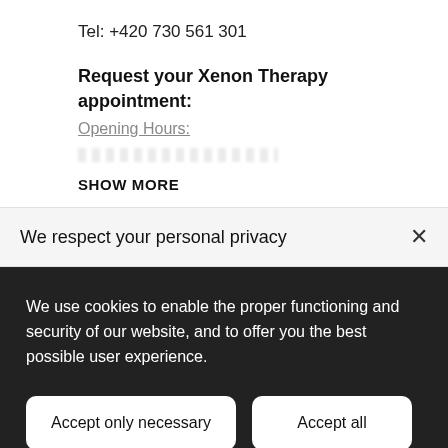Tel: +420 730 561 301
Request your Xenon Therapy appointment:
Opening Hours:
SHOW MORE
We respect your personal privacy
We use cookies to enable the proper functioning and security of our website, and to offer you the best possible user experience.
Accept only necessary
Accept all